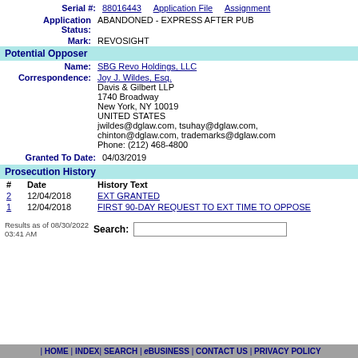Serial #: 88016443   Application File   Assignment
Application Status: ABANDONED - EXPRESS AFTER PUB
Mark: REVOSIGHT
Potential Opposer
Name: SBG Revo Holdings, LLC
Correspondence: Joy J. Wildes, Esq.
Davis & Gilbert LLP
1740 Broadway
New York, NY 10019
UNITED STATES
jwildes@dglaw.com, tsuhay@dglaw.com, chinton@dglaw.com, trademarks@dglaw.com
Phone: (212) 468-4800
Granted To Date: 04/03/2019
Prosecution History
| # | Date | History Text |
| --- | --- | --- |
| 2 | 12/04/2018 | EXT GRANTED |
| 1 | 12/04/2018 | FIRST 90-DAY REQUEST TO EXT TIME TO OPPOSE |
Results as of 08/30/2022 03:41 AM   Search:
| HOME | INDEX | SEARCH | eBUSINESS | CONTACT US | PRIVACY POLICY